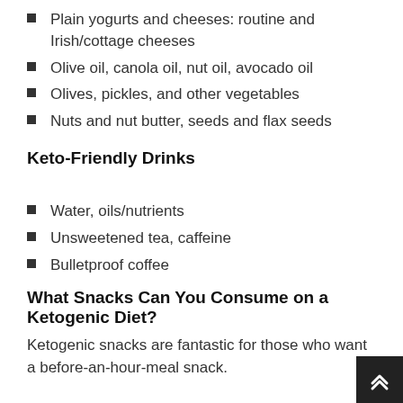Plain yogurts and cheeses: routine and Irish/cottage cheeses
Olive oil, canola oil, nut oil, avocado oil
Olives, pickles, and other vegetables
Nuts and nut butter, seeds and flax seeds
Keto-Friendly Drinks
Water, oils/nutrients
Unsweetened tea, caffeine
Bulletproof coffee
What Snacks Can You Consume on a Ketogenic Diet?
Ketogenic snacks are fantastic for those who want a before-an-hour-meal snack.